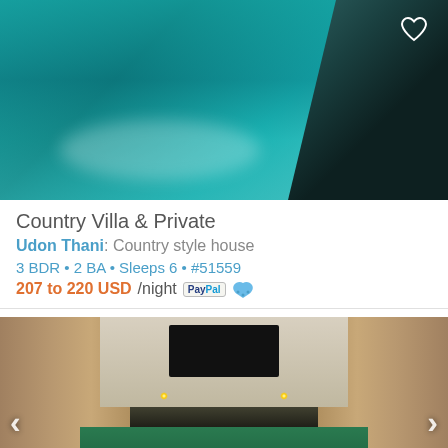[Figure (photo): Aerial/close-up view of a turquoise swimming pool with tiled steps on the right side. A white heart icon appears in the top-right corner.]
Country Villa & Private
Udon Thani: Country style house
3 BDR • 2 BA • Sleeps 6 • #51559
207 to 220 USD/night [PayPal] 🐾
[Figure (photo): Interior photo of a luxury indoor swimming pool with natural stone walls, recessed ceiling lights, a dark skylight panel, and a long reflective pool. Navigation arrows on left and right sides.]